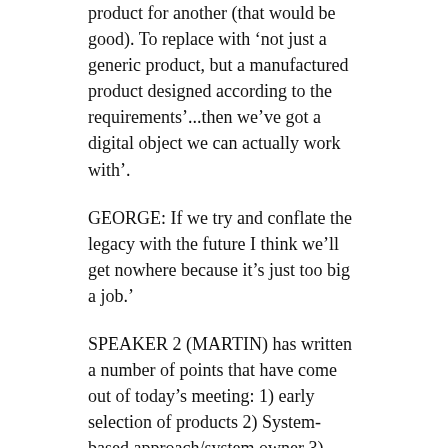product for another (that would be good). To replace with 'not just a generic product, but a manufactured product designed according to the requirements'...then we've got a digital object we can actually work with'.
GEORGE: If we try and conflate the legacy with the future I think we'll get nowhere because it's just too big a job.'
SPEAKER 2 (MARTIN) has written a number of points that have come out of today's meeting: 1) early selection of products 2) System-based approach/system owner 3) better understanding of the design/ earlier design/ why are